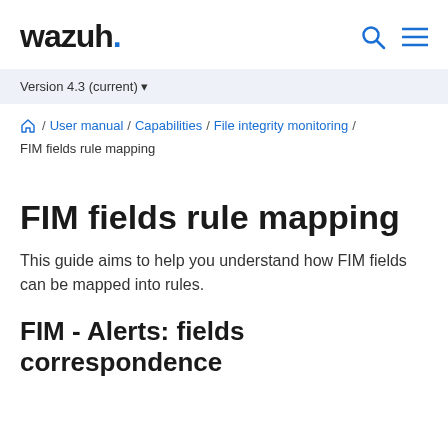wazuh.
Version 4.3 (current)
/ User manual / Capabilities / File integrity monitoring / FIM fields rule mapping
FIM fields rule mapping
This guide aims to help you understand how FIM fields can be mapped into rules.
FIM - Alerts: fields correspondence